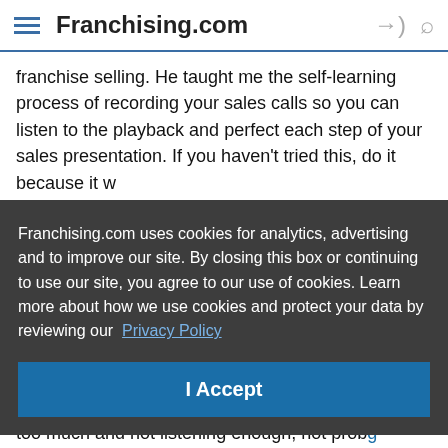Franchising.com
franchise selling. He taught me the self-learning process of recording your sales calls so you can listen to the playback and perfect each step of your sales presentation. If you haven't tried this, do it because it w
Franchising.com uses cookies for analytics, advertising and to improve our site. By closing this box or continuing to use our site, you agree to our use of cookies. Learn more about how we use cookies and protect your data by reviewing our Privacy Policy
I Accept
Wha leap too much and not listening enough, not prob